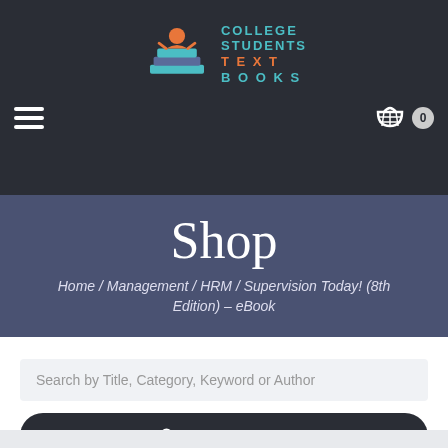[Figure (logo): College Students Text Books logo with stacked books illustration and teal/orange text]
[Figure (illustration): Hamburger menu icon (three horizontal lines) on left, shopping cart icon with badge '0' on right]
Shop
Home / Management / HRM / Supervision Today! (8th Edition) – eBook
Search by Title, Category, Keyword or Author
FIND BOOK